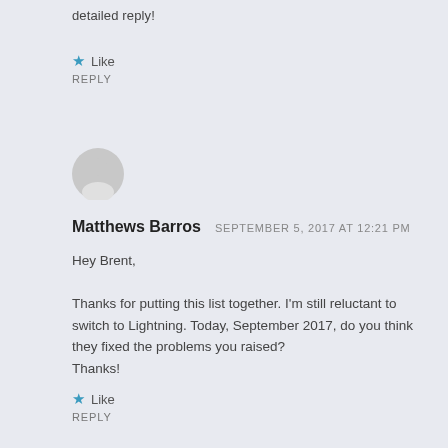detailed reply!
Like
REPLY
[Figure (illustration): Gray avatar/profile placeholder icon showing a silhouette of a person in a circle]
Matthews Barros   SEPTEMBER 5, 2017 AT 12:21 PM
Hey Brent,

Thanks for putting this list together. I'm still reluctant to switch to Lightning. Today, September 2017, do you think they fixed the problems you raised?
Thanks!
Like
REPLY